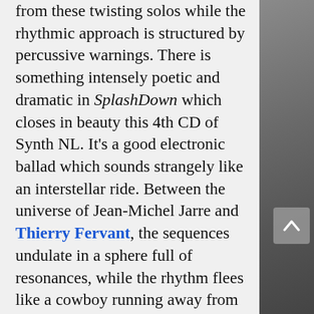from these twisting solos while the rhythmic approach is structured by percussive warnings. There is something intensely poetic and dramatic in SplashDown which closes in beauty this 4th CD of Synth NL. It's a good electronic ballad which sounds strangely like an interstellar ride. Between the universe of Jean-Michel Jarre and Thierry Fervant, the sequences undulate in a sphere full of resonances, while the rhythm flees like a cowboy running away from a mythical horde of cosmic dusts I think it's great and I like this slow crescendo that increases the pace under reverberating solos, perfectly matching the resonances
[Figure (photo): Dark stone or concrete textured wall/surface visible on the right side of the page, with a semi-transparent grey scroll-up button overlay]